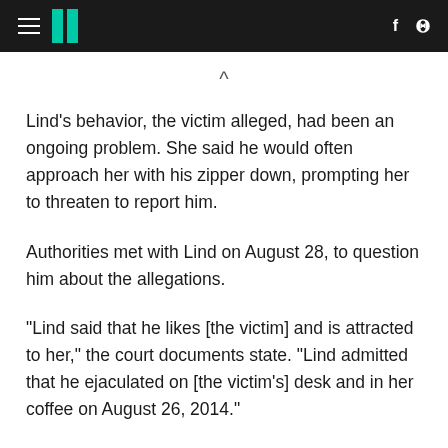HuffPost navigation header with hamburger menu, logo, Facebook and Twitter icons
Lind's behavior, the victim alleged, had been an ongoing problem. She said he would often approach her with his zipper down, prompting her to threaten to report him.
Authorities met with Lind on August 28, to question him about the allegations.
"Lind said that he likes [the victim] and is attracted to her," the court documents state. "Lind admitted that he ejaculated on [the victim's] desk and in her coffee on August 26, 2014."